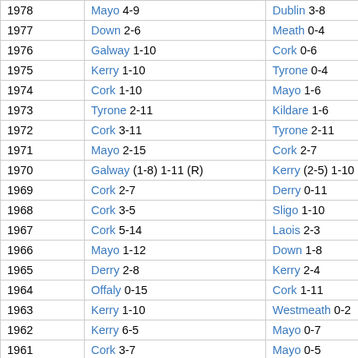| Year | Winner | Runner-up |
| --- | --- | --- |
| 1978 | Mayo 4-9 | Dublin 3-8 |
| 1977 | Down 2-6 | Meath 0-4 |
| 1976 | Galway 1-10 | Cork 0-6 |
| 1975 | Kerry 1-10 | Tyrone 0-4 |
| 1974 | Cork 1-10 | Mayo 1-6 |
| 1973 | Tyrone 2-11 | Kildare 1-6 |
| 1972 | Cork 3-11 | Tyrone 2-11 |
| 1971 | Mayo 2-15 | Cork 2-7 |
| 1970 | Galway (1-8) 1-11 (R) | Kerry (2-5) 1-10 (R) |
| 1969 | Cork 2-7 | Derry 0-11 |
| 1968 | Cork 3-5 | Sligo 1-10 |
| 1967 | Cork 5-14 | Laois 2-3 |
| 1966 | Mayo 1-12 | Down 1-8 |
| 1965 | Derry 2-8 | Kerry 2-4 |
| 1964 | Offaly 0-15 | Cork 1-11 |
| 1963 | Kerry 1-10 | Westmeath 0-2 |
| 1962 | Kerry 6-5 | Mayo 0-7 |
| 1961 | Cork 3-7 | Mayo 0-5 |
| 1960 | Galway 4-9 | Cork 1-5 |
| 1959 | Dublin 0-11 | Cavan 1-4 |